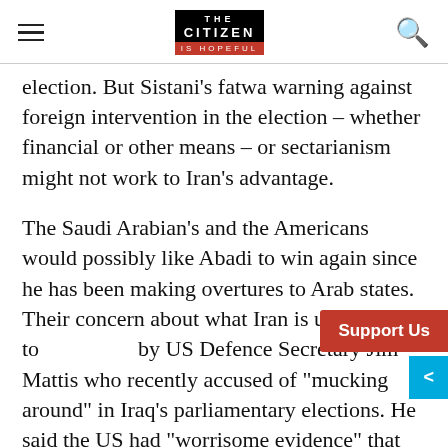THE CITIZEN IS HOPEFUL
election. But Sistani's fatwa warning against foreign intervention in the election – whether financial or other means – or sectarianism might not work to Iran's advantage.
The Saudi Arabian's and the Americans would possibly like Abadi to win again since he has been making overtures to Arab states. Their concern about what Iran is up to [was voiced] by US Defence Secretary Jim Mattis who recently accused of "mucking around" in Iraq's parliamentary elections. He said the US had "worrisome evidence" that Iran was trying to